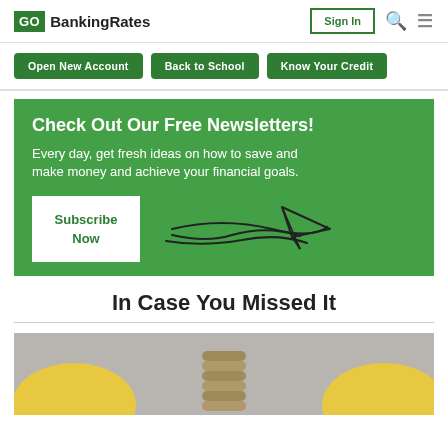GoBankingRates | Sign In
Open New Account | Back to School | Know Your Credit
Check Out Our Free Newsletters!
Every day, get fresh ideas on how to save and make money and achieve your financial goals.
Subscribe Now
In Case You Missed It
[Figure (photo): Stack of coins with yellow citrus fruits on either side, on a grey background]